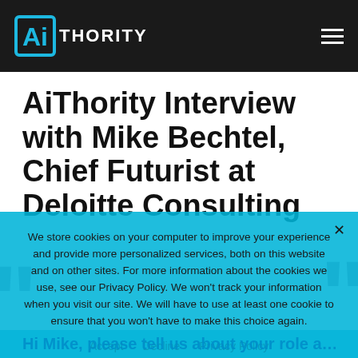AiThority
AiThority Interview with Mike Bechtel, Chief Futurist at Deloitte Consulting
We store cookies on your computer to improve your experience and provide more personalized services, both on this website and on other sites. For more information about the cookies we use, see our Privacy Policy. We won't track your information when you visit our site. We will have to use at least one cookie to ensure that you won't have to make this choice again.
Accept   Decline   Privacy Policy
Hi Mike, please tell us about your role a…